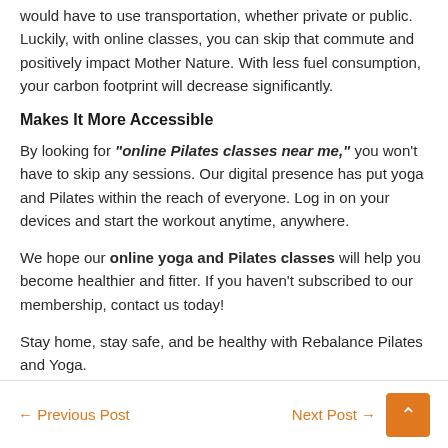would have to use transportation, whether private or public. Luckily, with online classes, you can skip that commute and positively impact Mother Nature. With less fuel consumption, your carbon footprint will decrease significantly.
Makes It More Accessible
By looking for "online Pilates classes near me," you won't have to skip any sessions. Our digital presence has put yoga and Pilates within the reach of everyone. Log in on your devices and start the workout anytime, anywhere.
We hope our online yoga and Pilates classes will help you become healthier and fitter. If you haven't subscribed to our membership, contact us today!
Stay home, stay safe, and be healthy with Rebalance Pilates and Yoga.
← Previous Post    Next Post →